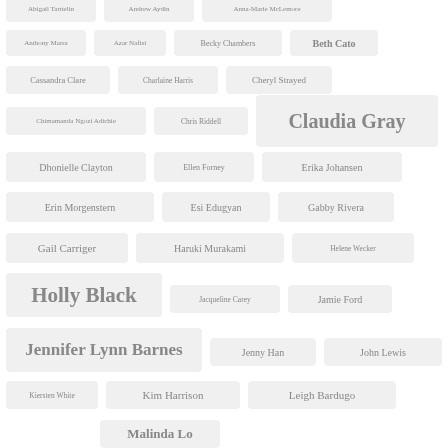Abigail Tarttelin
Andrew Aydin
Anna-Marie McLemore
Anthony Marra
Azar Nafisi
Becky Chambers
Beth Cato
Cassandra Clare
Charlaine Harris
Cheryl Strayed
Chimamanda Ngozi Adichie
Chris Riddell
Claudia Gray
Dhonielle Clayton
Ellen Forney
Erika Johansen
Erin Morgenstern
Esi Edugyan
Gabby Rivera
Gail Carriger
Haruki Murakami
Helene Wecker
Holly Black
Jacqueline Carey
Jamie Ford
Jennifer Lynn Barnes
Jenny Han
John Lewis
Kiersten White
Kim Harrison
Leigh Bardugo
Malinda Lo